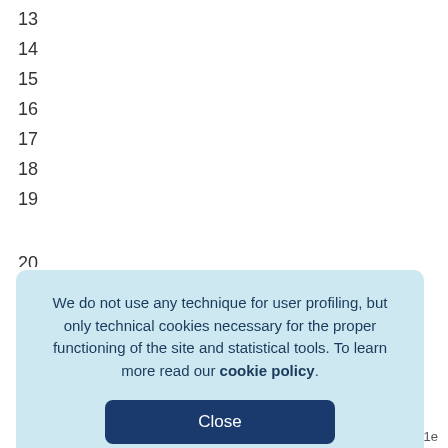13
14
15
16
17
18
19
We do not use any technique for user profiling, but only technical cookies necessary for the proper functioning of the site and statistical tools. To learn more read our cookie policy.
Close
1e